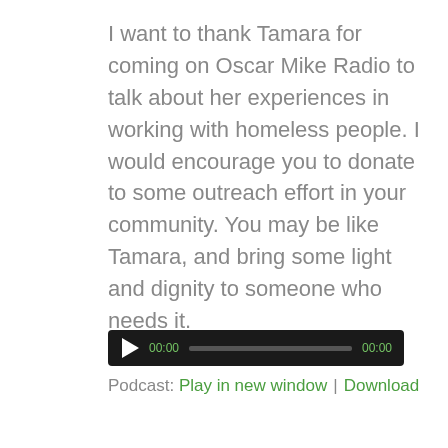I want to thank Tamara for coming on Oscar Mike Radio to talk about her experiences in working with homeless people. I would encourage you to donate to some outreach effort in your community. You may be like Tamara, and bring some light and dignity to someone who needs it.
[Figure (other): Audio player with dark background, play button, time display showing 00:00, progress bar, and end time 00:00]
Podcast: Play in new window | Download